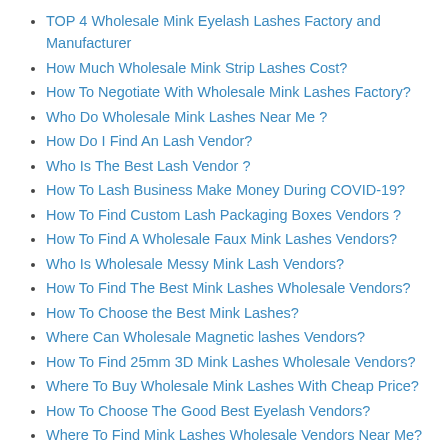TOP 4 Wholesale Mink Eyelash Lashes Factory and Manufacturer
How Much Wholesale Mink Strip Lashes Cost?
How To Negotiate With Wholesale Mink Lashes Factory?
Who Do Wholesale Mink Lashes Near Me ?
How Do I Find An Lash Vendor?
Who Is The Best Lash Vendor ?
How To Lash Business Make Money During COVID-19?
How To Find Custom Lash Packaging Boxes Vendors ?
How To Find A Wholesale Faux Mink Lashes Vendors?
Who Is Wholesale Messy Mink Lash Vendors?
How To Find The Best Mink Lashes Wholesale Vendors?
How To Choose the Best Mink Lashes?
Where Can Wholesale Magnetic lashes Vendors?
How To Find 25mm 3D Mink Lashes Wholesale Vendors?
Where To Buy Wholesale Mink Lashes With Cheap Price?
How To Choose The Good Best Eyelash Vendors?
Where To Find Mink Lashes Wholesale Vendors Near Me?